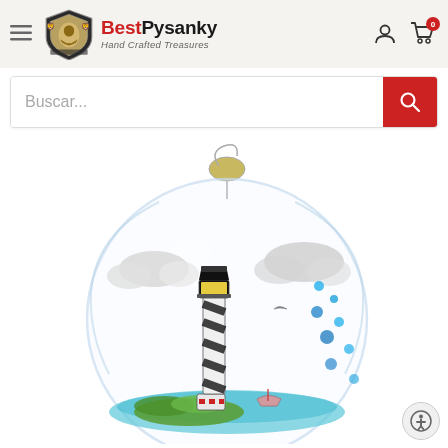[Figure (screenshot): BestPysanky e-commerce website header with hamburger menu, logo, user account icon, and cart icon with badge showing 0]
[Figure (screenshot): Search bar with placeholder text 'Buscar...' and red search button]
[Figure (photo): Glass globe Christmas ornament containing a miniature lighthouse scene with black and white striped lighthouse, green foliage, blue water, clouds, and blue dot decorations inside the clear glass ball, hanging by a silver hook]